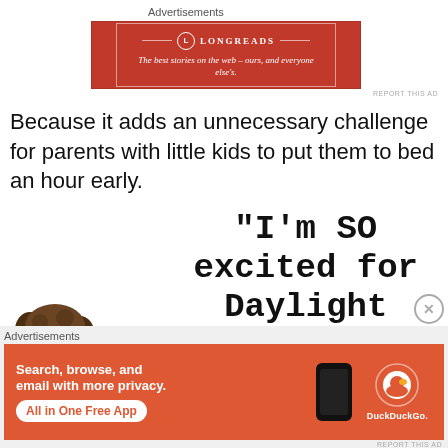Advertisements
[Figure (illustration): Longreads advertisement banner: red background with white inner border, Longreads logo and tagline 'The best stories on the web – ours, and everyone else's.']
REPORT THIS AD
Because it adds an unnecessary challenge for parents with little kids to put them to bed an hour early.
[Figure (illustration): Pull quote image with curly-haired child photo on left and large typewriter text reading '"I'm SO excited for Daylight']
Advertisements
[Figure (illustration): DuckDuckGo advertisement: orange background with text 'Search, browse, and email with more privacy. All in One Free App' and a phone graphic with DuckDuckGo logo.]